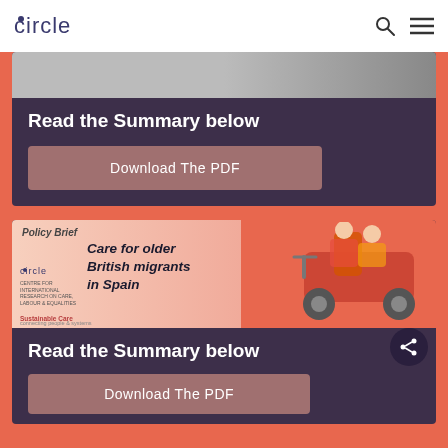circle
[Figure (screenshot): Partial image of a document or photo, top portion visible above the first card]
Read the Summary below
Download The PDF
[Figure (illustration): Policy Brief banner: 'Care for older British migrants in Spain' with circle and Sustainable Care logos, image of two people on mobility scooter]
Read the Summary below
Download The PDF